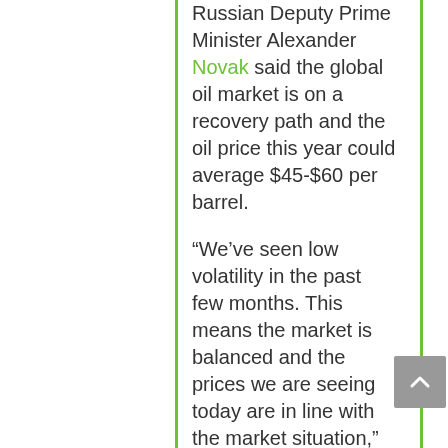Russian Deputy Prime Minister Alexander Novak said the global oil market is on a recovery path and the oil price this year could average $45-$60 per barrel.
“We’ve seen low volatility in the past few months. This means the market is balanced and the prices we are seeing today are in line with the market situation,” Novak was quoted as saying.
Meanwhile US President Joe Biden pushed for the first